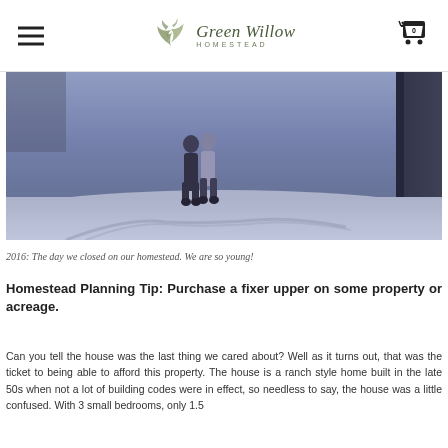Green Willow Homestead
[Figure (photo): A couple standing in a snowy yard/driveway in front of a building, photo has a blue-violet tint, taken in 2016 on the day they closed on their homestead.]
2016: The day we closed on our homestead. We are so young!
Homestead Planning Tip: Purchase a fixer upper on some property or acreage.
Can you tell the house was the last thing we cared about? Well as it turns out, that was the ticket to being able to afford this property. The house is a ranch style home built in the late 50s when not a lot of building codes were in effect, so needless to say, the house was a little confused. With 3 small bedrooms, only 1.5